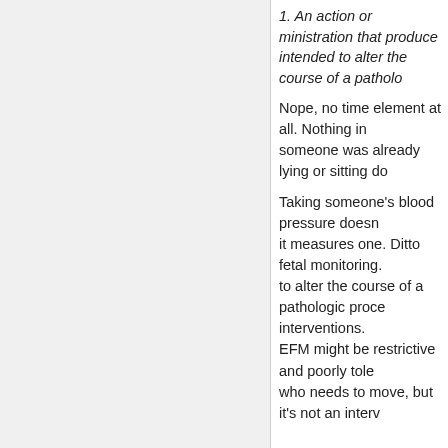1. An action or ministration that produces effects and is intended to alter the course of a patholo...
Nope, no time element at all. Nothing in... someone was already lying or sitting do...
Taking someone's blood pressure doesn't... it measures one. Ditto fetal monitoring. I... to alter the course of a pathologic proce... interventions. EFM might be restrictive and poorly tole... who needs to move, but it's not an interv...
[Figure (photo): Small square avatar photo showing a wooden piano keyboard or similar wooden instrument texture, with horizontal lines.]
C T
Jan...
Of course there is a time element involv... talking about producing effects of any ki... intrapartum baby's cord for 20 seconds,... minutes, and it's a tragedy. All those nurses and doctors sending we... halls are highly unlikely to be all under a... delusion that movement or the lack ther...